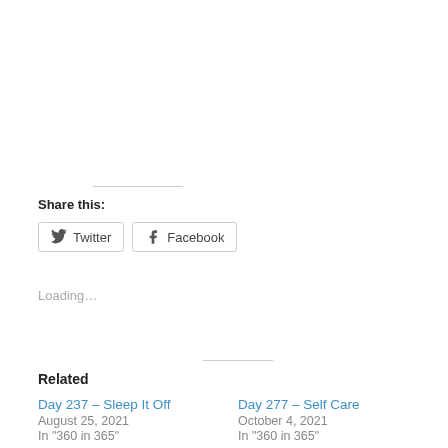Share this:
Twitter  Facebook
Loading...
Related
Day 237 – Sleep It Off
August 25, 2021
In "360 in 365"
Day 277 – Self Care
October 4, 2021
In "360 in 365"